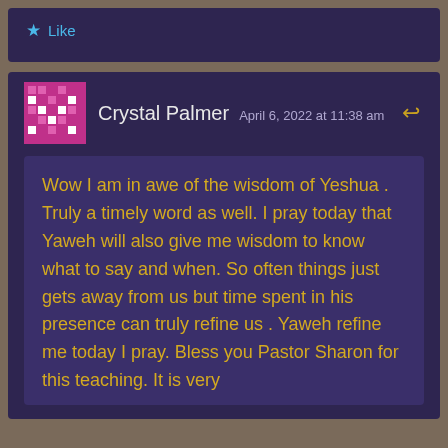[Figure (other): Like button with star icon at top of page]
Crystal Palmer  April 6, 2022 at 11:38 am
Wow I am in awe of the wisdom of Yeshua . Truly a timely word as well. I pray today that Yaweh will also give me wisdom to know what to say and when. So often things just gets away from us but time spent in his presence can truly refine us . Yaweh refine me today I pray. Bless you Pastor Sharon for this teaching. It is very